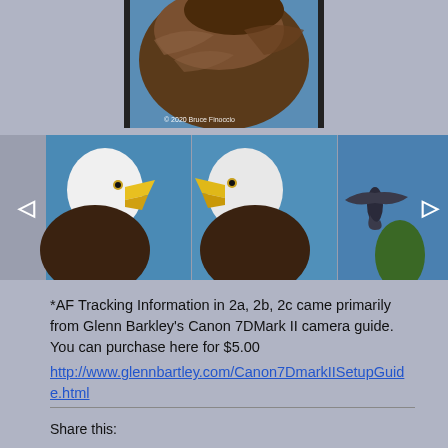[Figure (photo): Close-up photo of a bald eagle from behind, showing brown feathers and blue sky background with copyright text '© 2020 Bruce Finoccio']
[Figure (photo): Gallery strip showing three wildlife bird photos: two close-up bald eagles with open beaks against blue sky, and one bird in flight against blue sky with trees. Navigation arrows on left and right sides.]
*AF Tracking Information in 2a, 2b, 2c came primarily from Glenn Barkley's Canon 7DMark II camera guide. You can purchase here for $5.00 http://www.glennbartley.com/Canon7DmarkIISetupGuide.html
Share this: